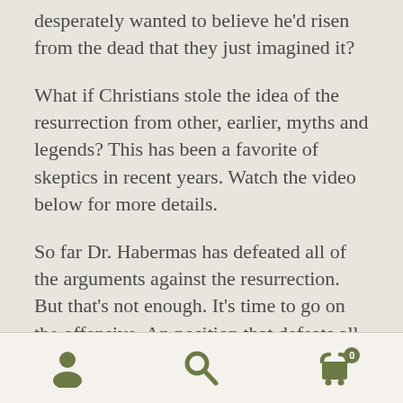desperately wanted to believe he'd risen from the dead that they just imagined it?
What if Christians stole the idea of the resurrection from other, earlier, myths and legends? This has been a favorite of skeptics in recent years. Watch the video below for more details.
So far Dr. Habermas has defeated all of the arguments against the resurrection. But that's not enough. It's time to go on the offensive. An position that defeats all opposition still needs to present a positive case.
[navigation icons: user, search, cart with badge 0]